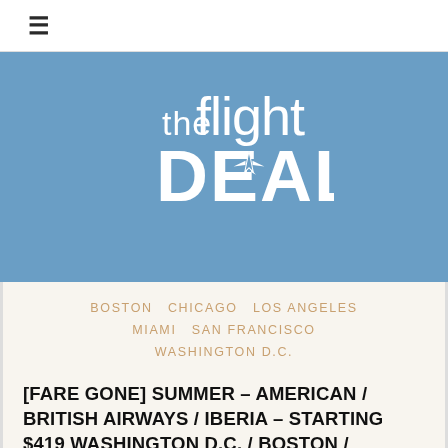[Figure (logo): The Flight Deal logo — white text on steel blue background, stylized airplane silhouette in the letter A of DEAL]
BOSTON  CHICAGO  LOS ANGELES  MIAMI  SAN FRANCISCO  WASHINGTON D.C.
[FARE GONE] SUMMER – AMERICAN / BRITISH AIRWAYS / IBERIA – STARTING $419 WASHINGTON D.C. / BOSTON /